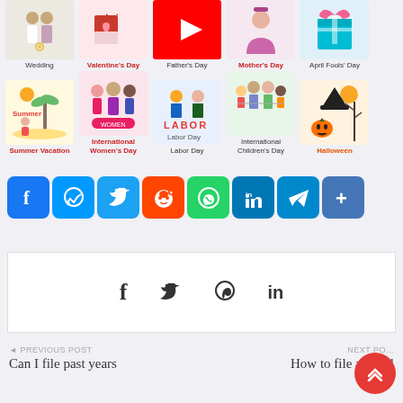[Figure (illustration): Grid of holiday category icons: Wedding, Valentine's Day, Father's Day, Mother's Day, April Fools' Day (row 1); Summer Vacation, International Women's Day, Labor Day, International Children's Day, Halloween (row 2)]
[Figure (other): Row of social media share buttons: Facebook, Messenger, Twitter, Reddit, WhatsApp, LinkedIn, Telegram, Share]
[Figure (other): Share box with social icons: Facebook (f), Twitter (bird), Pinterest (p), LinkedIn (in)]
◄ PREVIOUS POST
Can I file past years
NEXT PO...
How to file a small